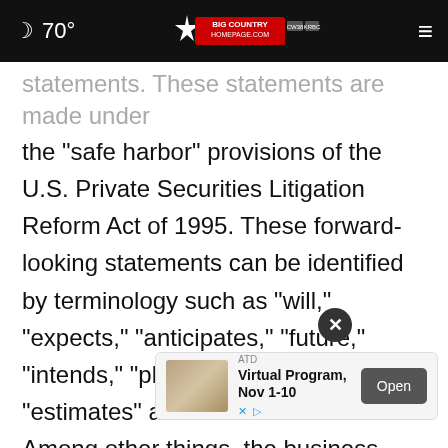70° | Big Country Homepage | CW38 KRBC
statements. These statements are made under the "safe harbor" provisions of the U.S. Private Securities Litigation Reform Act of 1995. These forward-looking statements can be identified by terminology such as "will," "expects," "anticipates," "future," "intends," "plans," "believes," "estimates" and similar statements. Among other things, the business outlook and quotations from management in this announcement, as well as JOYY's strategy and operational and financial results, statements. JOYY may also make written or oral